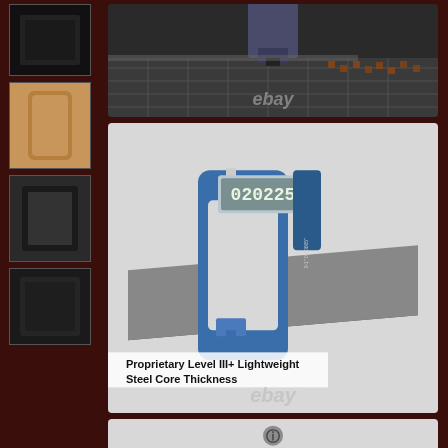[Figure (photo): Laser cutting machine cutting steel plates with sparks visible, ebay watermark]
[Figure (photo): Digital micrometer measuring a flat steel plate showing 0.20225 reading, with text 'Proprietary Level III+ Lightweight Steel Core Thickness' and ebay watermark]
Proprietary Level III+ Lightweight Steel Core Thickness
[Figure (photo): Partially visible third product photo at bottom of page]